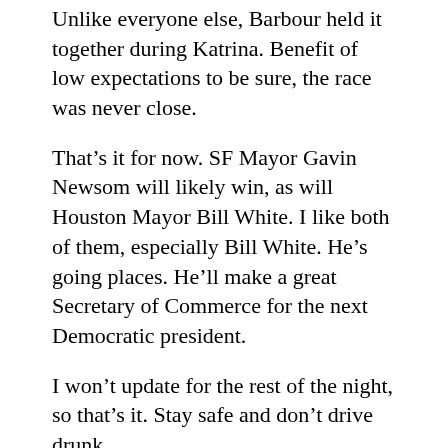Unlike everyone else, Barbour held it together during Katrina. Benefit of low expectations to be sure, the race was never close.
That’s it for now. SF Mayor Gavin Newsom will likely win, as will Houston Mayor Bill White. I like both of them, especially Bill White. He’s going places. He’ll make a great Secretary of Commerce for the next Democratic president.
I won’t update for the rest of the night, so that’s it. Stay safe and don’t drive drunk.
Share:
Tweet  Email  Print